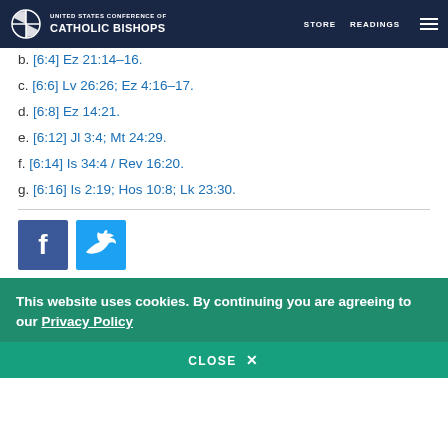United States Conference of Catholic Bishops — STORE  READINGS
b. [6:4] Ez 21:14–16.
c. [6:6] Lv 26:26; Ez 4:16–17.
d. [6:8] Ez 14:21.
e. [6:12] Jl 3:4; Mt 24:29.
f. [6:14] Is 34:4 / Rev 16:20.
g. [6:16] Is 2:19; Hos 10:8; Lk 23:30.
[Figure (other): Facebook and Twitter social sharing buttons]
This website uses cookies. By continuing you are agreeing to our Privacy Policy
CLOSE  X